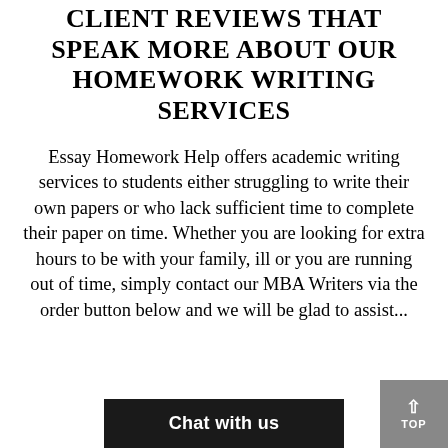CLIENT REVIEWS THAT SPEAK MORE ABOUT OUR HOMEWORK WRITING SERVICES
Essay Homework Help offers academic writing services to students either struggling to write their own papers or who lack sufficient time to complete their paper on time. Whether you are looking for extra hours to be with your family, ill or you are running out of time, simply contact our MBA Writers via the order button below and we will be glad to assist...